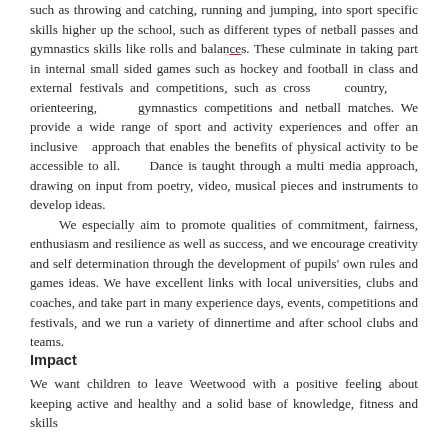such as throwing and catching, running and jumping, into sport specific skills higher up the school, such as different types of netball passes and gymnastics skills like rolls and balances. These culminate in taking part in internal small sided games such as hockey and football in class and external festivals and competitions, such as cross country, orienteering, gymnastics competitions and netball matches. We provide a wide range of sport and activity experiences and offer an inclusive approach that enables the benefits of physical activity to be accessible to all. Dance is taught through a multi media approach, drawing on input from poetry, video, musical pieces and instruments to develop ideas. We especially aim to promote qualities of commitment, fairness, enthusiasm and resilience as well as success, and we encourage creativity and self determination through the development of pupils' own rules and games ideas. We have excellent links with local universities, clubs and coaches, and take part in many experience days, events, competitions and festivals, and we run a variety of dinnertime and after school clubs and teams.
Impact
We want children to leave Weetwood with a positive feeling about keeping active and healthy and a solid base of knowledge, fitness and skills to assist in preparing their High School choice.